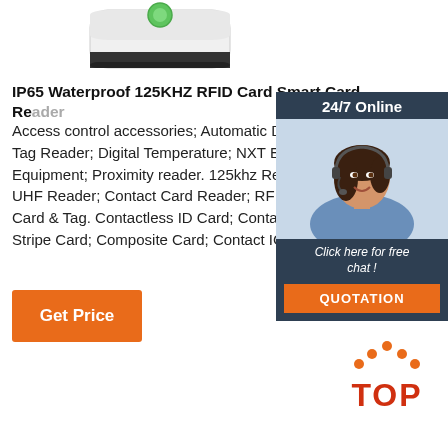[Figure (photo): Partial top view of a white RFID card reader device with green indicator]
IP65 Waterproof 125KHZ RFID Card Smart Card Reader
Access control accessories; Automatic Door; Laser Tag Reader; Digital Temperature; NXT EV3 VEX DI Equipment; Proximity reader. 125khz Reader; 13.56 UHF Reader; Contact Card Reader; RF Read Modu Card & Tag. Contactless ID Card; Contactless IC Ca Stripe Card; Composite Card; Contact IC ...
[Figure (illustration): 24/7 Online chat widget with a woman wearing a headset, dark blue background, orange QUOTATION button]
[Figure (logo): TOP logo with orange dot pattern above the letters TOP in red/orange]
Get Price